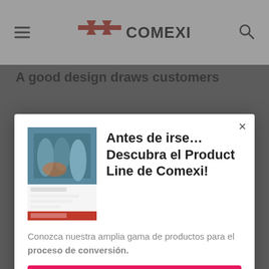COMEXI
A good design draws customers
[Figure (screenshot): Modal popup overlay with Comexi product line brochure thumbnail, Spanish heading, body text, and CTA button]
Antes de irse… Descubra el Product Line de Comexi!
Conozca nuestra amplia gama de productos para el proceso de conversión.
Descárgalo ahora
easy open with...
28 Julio 2017